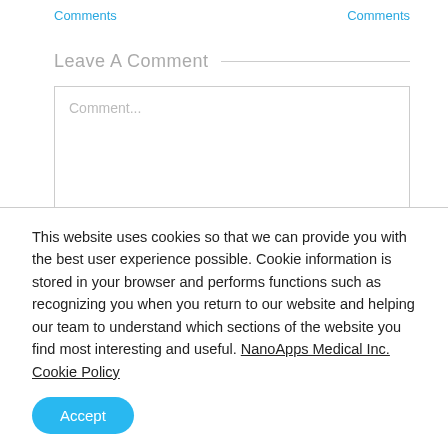Comments    Comments
Leave A Comment
Comment...
This website uses cookies so that we can provide you with the best user experience possible. Cookie information is stored in your browser and performs functions such as recognizing you when you return to our website and helping our team to understand which sections of the website you find most interesting and useful. NanoApps Medical Inc. Cookie Policy
Accept